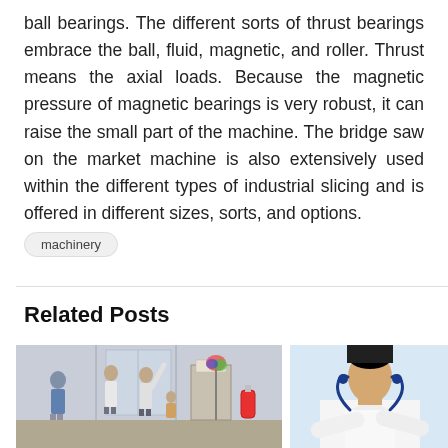ball bearings. The different sorts of thrust bearings embrace the ball, fluid, magnetic, and roller. Thrust means the axial loads. Because the magnetic pressure of magnetic bearings is very robust, it can raise the small part of the machine. The bridge saw on the market machine is also extensively used within the different types of industrial slicing and is offered in different sizes, sorts, and options.
machinery
Related Posts
[Figure (photo): Photo of people in what appears to be an industrial or workshop setting, with figures standing near equipment and a fire extinguisher visible.]
[Figure (photo): Photo of a medical professional (doctor) in a white coat with a stethoscope around their neck, arms crossed.]